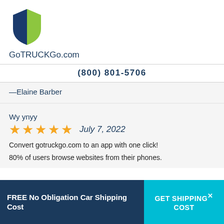[Figure (logo): GoTRUCKGo shield logo with dark blue and green colors]
GoTRUCKGo.com
(800) 801-5706
—Elaine Barber
Wy ynyy
[Figure (other): Five gold/yellow star rating icons]
July 7, 2022
Convert gotruckgo.com to an app with one click!
80% of users browse websites from their phones.
FREE No Obligation Car Shipping Cost
GET SHIPPING COST